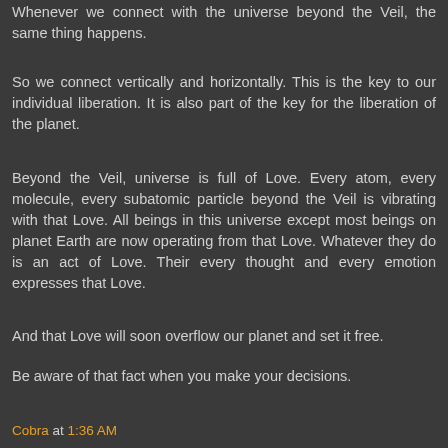Whenever we connect with the universe beyond the Veil, the same thing happens.
So we connect vertically and horizontally. This is the key to our individual liberation. It is also part of the key for the liberation of the planet.
Beyond the Veil, universe is full of Love. Every atom, every molecule, every subatomic particle beyond the Veil is vibrating with that Love. All beings in this universe except most beings on planet Earth are now operating from that Love. Whatever they do is an act of Love. Their every thought and every emotion expresses that Love.
And that Love will soon overflow our planet and set it free.
Be aware of that fact when you make your decisions.
Cobra at 1:36 AM